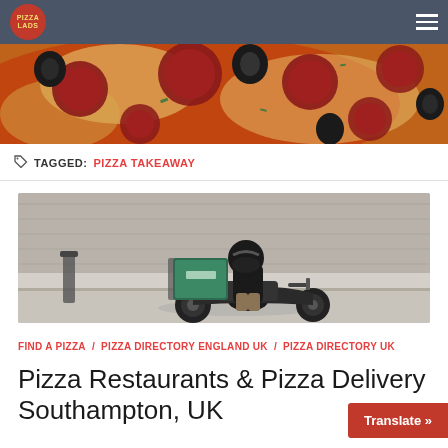Pizza Lads navigation bar
[Figure (photo): Close-up photo of a pizza with pepperoni and black olives on tomato sauce]
TAGGED: PIZZA TAKEAWAY
[Figure (photo): Delivery rider on a scooter with a green delivery box, riding on a street with stone walls in background]
FIND A PIZZA / PIZZA DIRECTORY ENGLAND UK / PIZZA DIRECTORY UK
Pizza Restaurants & Pizza Delivery Southampton, UK